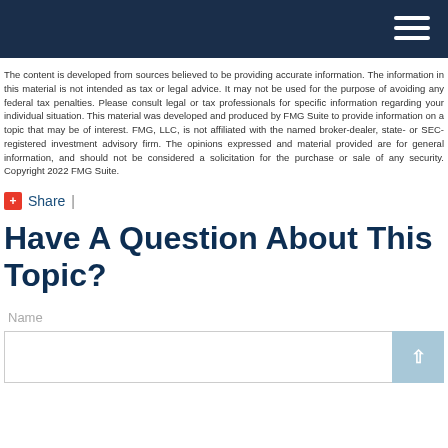Navigation header bar with hamburger menu
The content is developed from sources believed to be providing accurate information. The information in this material is not intended as tax or legal advice. It may not be used for the purpose of avoiding any federal tax penalties. Please consult legal or tax professionals for specific information regarding your individual situation. This material was developed and produced by FMG Suite to provide information on a topic that may be of interest. FMG, LLC, is not affiliated with the named broker-dealer, state- or SEC-registered investment advisory firm. The opinions expressed and material provided are for general information, and should not be considered a solicitation for the purchase or sale of any security. Copyright 2022 FMG Suite.
+ Share |
Have A Question About This Topic?
Name